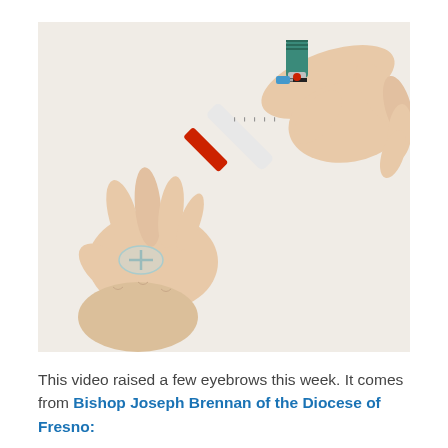[Figure (photo): Two hands drawing liquid from a medical vial into a syringe. The right hand holds a small medication vial with a teal/green cap and red stopper at the top, while the left hand holds the syringe body with a clear needle cap visible at the bottom. The syringe has measurement markings and a red plunger. Background is white.]
This video raised a few eyebrows this week. It comes from Bishop Joseph Brennan of the Diocese of Fresno: